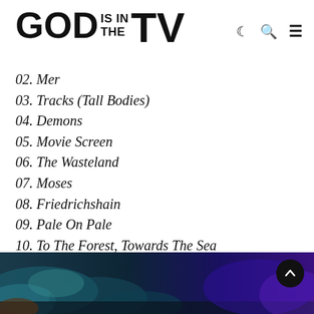GOD IS IN THE TV
02. Mer
03. Tracks (Tall Bodies)
04. Demons
05. Movie Screen
06. The Wasteland
07. Moses
08. Friedrichshain
09. Pale On Pale
10. To The Forest, Towards The Sea
[Figure (photo): Dark atmospheric photo with blue and teal tones, partially visible at bottom of page]